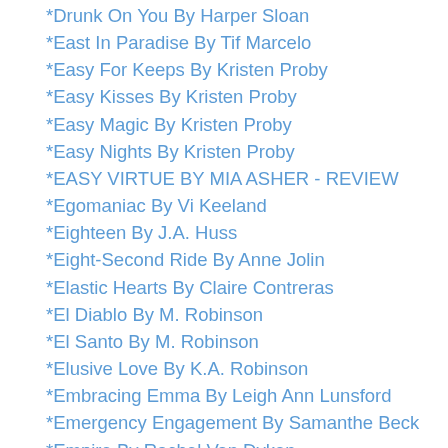*Drunk On You By Harper Sloan
*East In Paradise By Tif Marcelo
*Easy For Keeps By Kristen Proby
*Easy Kisses By Kristen Proby
*Easy Magic By Kristen Proby
*Easy Nights By Kristen Proby
*EASY VIRTUE BY MIA ASHER - REVIEW
*Egomaniac By Vi Keeland
*Eighteen By J.A. Huss
*Eight-Second Ride By Anne Jolin
*Elastic Hearts By Claire Contreras
*El Diablo By M. Robinson
*El Santo By M. Robinson
*Elusive Love By K.A. Robinson
*Embracing Emma By Leigh Ann Lunsford
*Emergency Engagement By Samanthe Beck
*Empire By Rachel Van Dyken
*Endless Love Letter By Callie Anderson
*Ends Here By M. Robinson
*Engaging The Bachelor By Cathryn Fox
*ENTANGLED BY ALEX ROSA
Episode 1)Tempest Rising By Julie Kenner